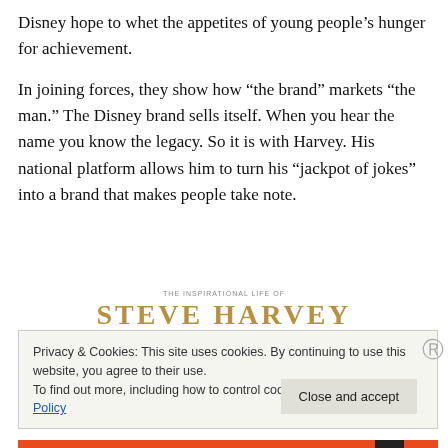Disney hope to whet the appetites of young people’s hunger for achievement.
In joining forces, they show how “the brand” markets “the man.” The Disney brand sells itself. When you hear the name you know the legacy. So it is with Harvey. His national platform allows him to turn his “jackpot of jokes” into a brand that makes people take note.
[Figure (logo): Steve Harvey blog logo — serif text in gold/tan color reading STEVE HARVEY in uppercase, with a small subtitle line above]
Privacy & Cookies: This site uses cookies. By continuing to use this website, you agree to their use.
To find out more, including how to control cookies, see here: Cookie Policy
Close and accept